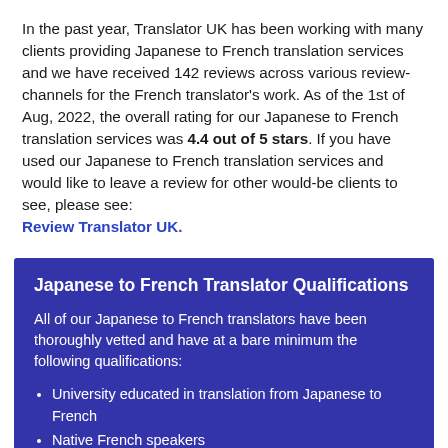In the past year, Translator UK has been working with many clients providing Japanese to French translation services and we have received 142 reviews across various review-channels for the French translator's work. As of the 1st of Aug, 2022, the overall rating for our Japanese to French translation services was 4.4 out of 5 stars. If you have used our Japanese to French translation services and would like to leave a review for other would-be clients to see, please see: Review Translator UK.
Japanese to French Translator Qualifications
All of our Japanese to French translators have been thoroughly vetted and have at a bare minimum the following qualifications:
University educated in translation from Japanese to French
Native French speakers